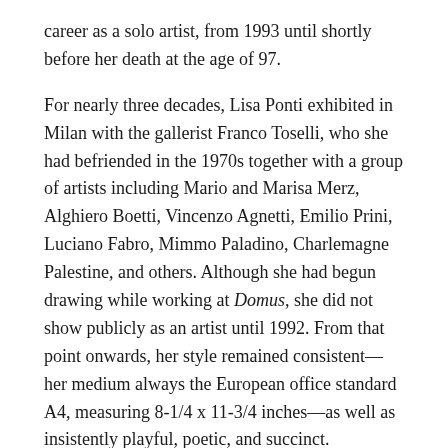career as a solo artist, from 1993 until shortly before her death at the age of 97.
For nearly three decades, Lisa Ponti exhibited in Milan with the gallerist Franco Toselli, who she had befriended in the 1970s together with a group of artists including Mario and Marisa Merz, Alghiero Boetti, Vincenzo Agnetti, Emilio Prini, Luciano Fabro, Mimmo Paladino, Charlemagne Palestine, and others. Although she had begun drawing while working at Domus, she did not show publicly as an artist until 1992. From that point onwards, her style remained consistent—her medium always the European office standard A4, measuring 8-1/4 x 11-3/4 inches—as well as insistently playful, poetic, and succinct.
In some cases, the drawings double as poems or letters, greeting her many friends or sending congratulations and cleverly incorporating text into figurative designs almost calligraphically, like modernist ideograms. Favored motifs often recur—the quick outline of a profile; or rapidly rendered hands, feet, flowers, snails, wings,